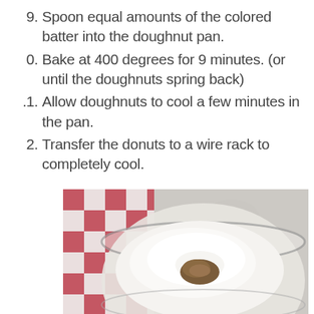9. Spoon equal amounts of the colored batter into the doughnut pan.
0. Bake at 400 degrees for 9 minutes. (or until the doughnuts spring back)
1. Allow doughnuts to cool a few minutes in the pan.
2. Transfer the donuts to a wire rack to completely cool.
[Figure (photo): Overhead photo of a glass mixing bowl filled with white flour and a small mound of brown spice/cocoa in the center, placed on a red and white checkered cloth.]